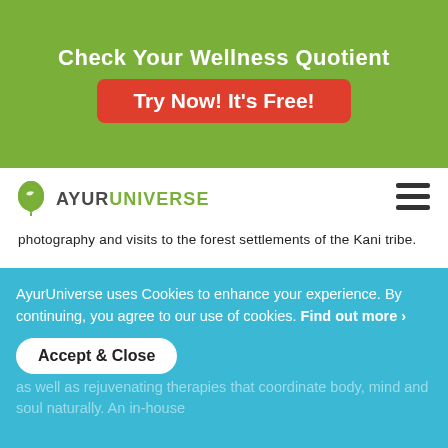Check Your Wellness Quotient
Try Now! It's Free!
[Figure (logo): AyurUniverse logo with green leaf map-pin icon and text AYURUNIVERSE in grey, with hamburger menu icon on right]
photography and visits to the forest settlements of the Kani tribe.
Duke's Forest Lodge is built on traditional Kerala architectural styles with 5 private villas exquisitely furnished with pool and one cottage by the pool side. There are also 4 standard rooms part of the old estate Bungalow that provide a remarkable level of comfort that is hard to match.
The property is home to an Ayurveda Clinic that boasts of the prestigious Green Leaf Award - the highest in its category for ayurvedic centres.
AyurUniverse uses Cookies to enhance your experience. By continuing, you agree to our use of cookies. Find out more ›
Accept & Close
as well as rejuvenating therapies that coordinate body, mind and soul naturally. An in-house